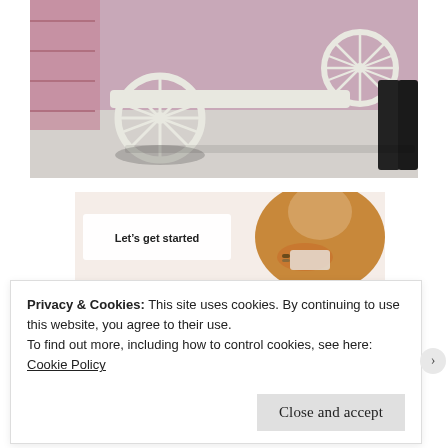[Figure (photo): White wagon wheel display prop on a marble floor inside a pink-walled retail space, with a person in dark pants standing nearby.]
[Figure (photo): Promotional banner image with text 'Let's get started' on the left side and a person wearing a mustard/brown sweater using a tablet or phone on the right.]
Privacy & Cookies: This site uses cookies. By continuing to use this website, you agree to their use.
To find out more, including how to control cookies, see here: Cookie Policy
Close and accept